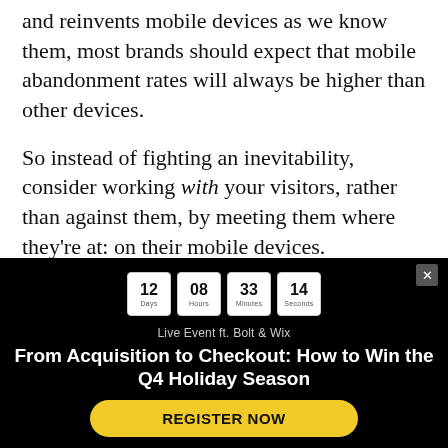and reinvents mobile devices as we know them, most brands should expect that mobile abandonment rates will always be higher than other devices.
So instead of fighting an inevitability, consider working with your visitors, rather than against them, by meeting them where they're at: on their mobile devices.
In this tactic, you'll focus on collecting visitor
[Figure (infographic): Black overlay popup with countdown timer showing 12 Days, 08 Hours, 33 Minutes, 14 Seconds. Subheading: Live Event ft. Bolt & Wix. Title: From Acquisition to Checkout: How to Win the Q4 Holiday Season. Yellow register button: REGISTER NOW. Close button (x) top right.]